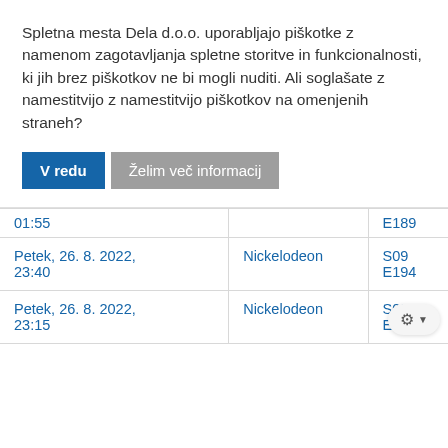Spletna mesta Dela d.o.o. uporabljajo piškotke z namenom zagotavljanja spletne storitve in funkcionalnosti, ki jih brez piškotkov ne bi mogli nuditi. Ali soglašate z namestitvijo z namestitvijo piškotkov na omenjenih straneh?
V redu
Želim več informacij
|  |  |  |
| --- | --- | --- |
| 01:55 |  | E189 |
| Petek, 26. 8. 2022, 23:40 | Nickelodeon | S09
E194 |
| Petek, 26. 8. 2022, 23:15 | Nickelodeon | S09
E… |